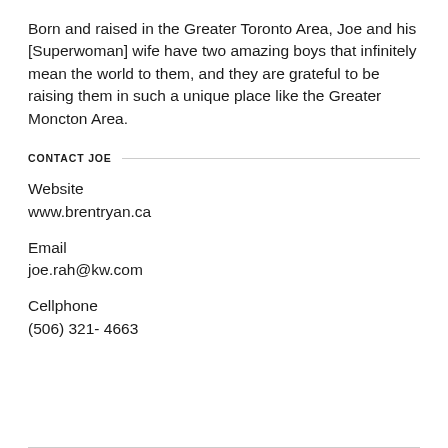Born and raised in the Greater Toronto Area, Joe and his [Superwoman] wife have two amazing boys that infinitely mean the world to them, and they are grateful to be raising them in such a unique place like the Greater Moncton Area.
CONTACT JOE
Website
www.brentryan.ca
Email
joe.rah@kw.com
Cellphone
(506) 321- 4663